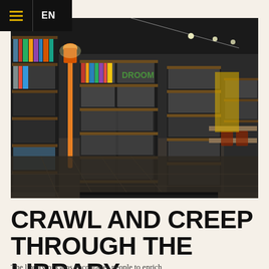≡ EN
[Figure (photo): Interior of a modern library with dark walls and wooden bookshelves filled with books, an orange floor lamp, neon green sign reading 'DROOM', and reading tables in the background]
CRAWL AND CREEP THROUGH THE LIBRARY
The library of Goos encourages people to enrich